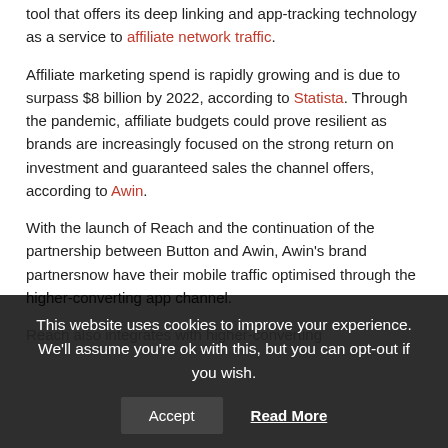tool that offers its deep linking and app-tracking technology as a service to affiliate network traffic.
Affiliate marketing spend is rapidly growing and is due to surpass $8 billion by 2022, according to Statista. Through the pandemic, affiliate budgets could prove resilient as brands are increasingly focused on the strong return on investment and guaranteed sales the channel offers, according to Awin.
With the launch of Reach and the continuation of the partnership between Button and Awin, Awin's brand partnersnow have their mobile traffic optimised through the higher-converting app channel.
Reach also integrates with...
This website uses cookies to improve your experience. We'll assume you're ok with this, but you can opt-out if you wish.